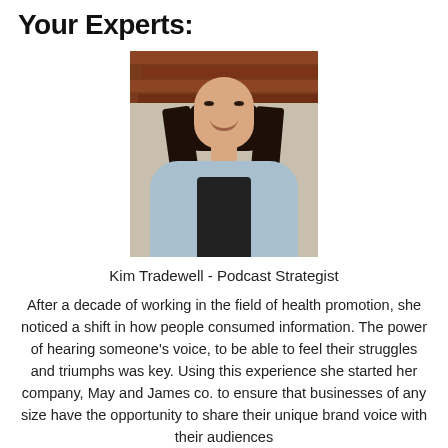Your Experts:
[Figure (photo): Headshot of Kim Tradewell, a woman with dark wavy hair, smiling, wearing a denim jacket and black top, photographed outdoors against a brick and stone wall background.]
Kim Tradewell - Podcast Strategist
After a decade of working in the field of health promotion, she noticed a shift in how people consumed information. The power of hearing someone's voice, to be able to feel their struggles and triumphs was key. Using this experience she started her company, May and James co. to ensure that businesses of any size have the opportunity to share their unique brand voice with their audiences